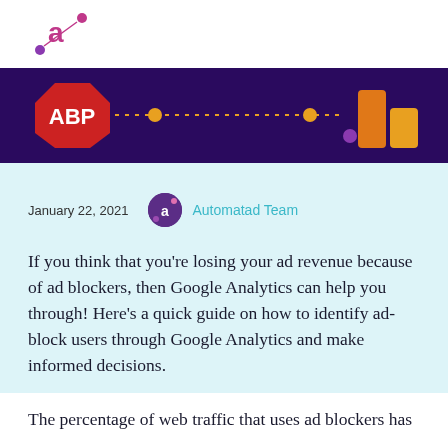Automatad logo
[Figure (illustration): Banner with ABP (Adblock Plus) logo on the left, dotted line with orange dots in the middle, and an orange/yellow bar chart icon on the right, on a dark purple background]
January 22, 2021   Automatad Team
If you think that you're losing your ad revenue because of ad blockers, then Google Analytics can help you through! Here's a quick guide on how to identify ad-block users through Google Analytics and make informed decisions.
The percentage of web traffic that uses ad blockers has